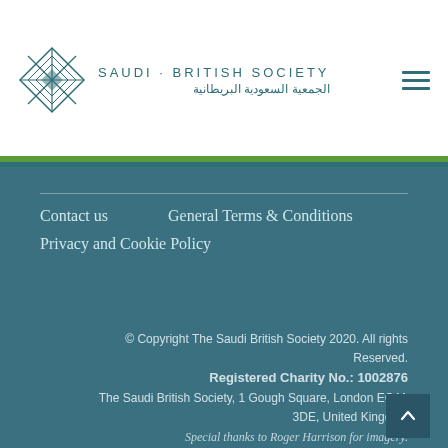[Figure (logo): Saudi British Society logo with diamond geometric pattern and bilingual text in English and Arabic]
Contact us
General Terms & Conditions
Privacy and Cookie Policy
© Copyright The Saudi British Society 2020. All rights Reserved.
Registered Charity No.: 1002876
The Saudi British Society, 1 Gough Square, London EC4A 3DE, United Kingdom
Special thanks to Roger Harrison for imagery.